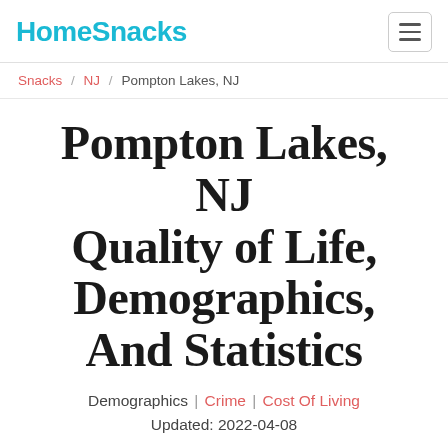HomeSnacks
Snacks / NJ / Pompton Lakes, NJ
Pompton Lakes, NJ Quality of Life, Demographics, And Statistics
Demographics | Crime | Cost Of Living
Updated: 2022-04-08